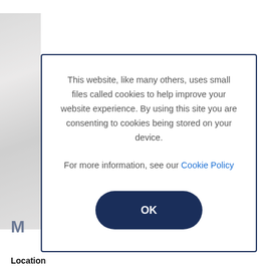This website, like many others, uses small files called cookies to help improve your website experience. By using this site you are consenting to cookies being stored on your device.

For more information, see our Cookie Policy
OK
Location